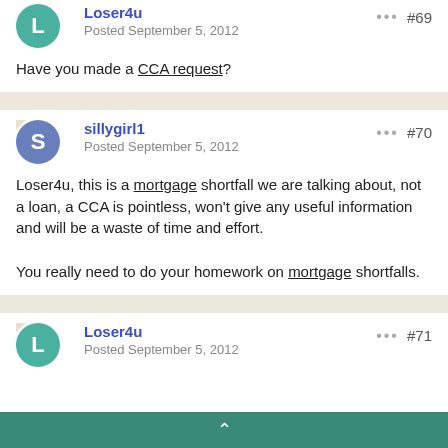Loser4u
Posted September 5, 2012
#69
Have you made a CCA request?
sillygirl1
Posted September 5, 2012
#70
Loser4u, this is a mortgage shortfall we are talking about, not a loan, a CCA is pointless, won't give any useful information and will be a waste of time and effort.

You really need to do your homework on mortgage shortfalls.
Loser4u
Posted September 5, 2012
#71